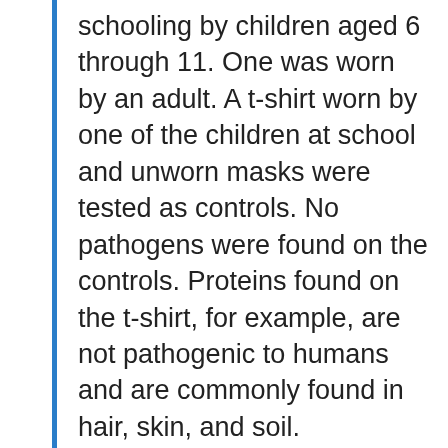schooling by children aged 6 through 11. One was worn by an adult. A t-shirt worn by one of the children at school and unworn masks were tested as controls. No pathogens were found on the controls. Proteins found on the t-shirt, for example, are not pathogenic to humans and are commonly found in hair, skin, and soil.
A parent who participated in the study, Ms. Amanda Donoho, commented that this small sample points to a need for more research;